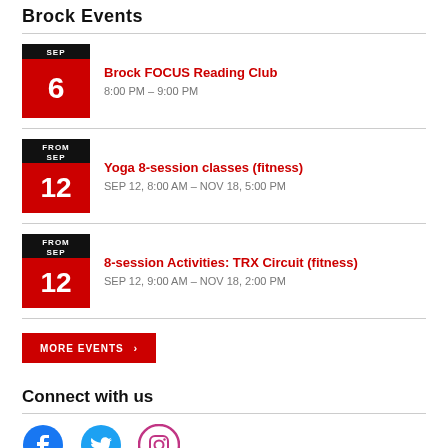Brock Events
Brock FOCUS Reading Club
8:00 PM – 9:00 PM
SEP 6
Yoga 8-session classes (fitness)
SEP 12, 8:00 AM – NOV 18, 5:00 PM
FROM SEP 12
8-session Activities: TRX Circuit (fitness)
SEP 12, 9:00 AM – NOV 18, 2:00 PM
FROM SEP 12
MORE EVENTS
Connect with us
[Figure (illustration): Facebook, Twitter, and Instagram social media icons in a row]